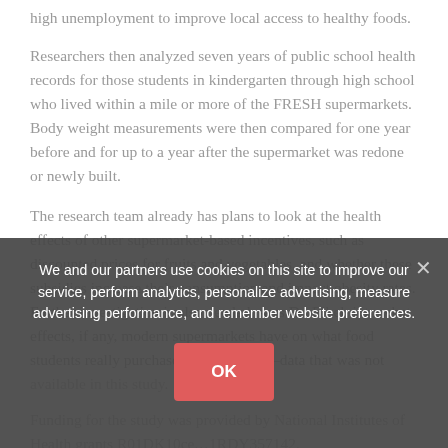high unemployment to improve local access to healthy foods.
Researchers then analyzed seven years of public school health records for those students in kindergarten through high school who lived within a mile or more of the FRESH supermarkets. Body weight measurements were then compared for one year before and for up to a year after the supermarket was redone or newly built.
The research team already has plans to look at the health effects of other supermarket-based incentives, such as discounted prices for fruits and vegetables, and whether these subsidies increase their consumption and impact obesity rates. Further investigation is also needed, says Dr. Elbel, into what effects, if any, modern supermarkets have on what food students really purchase and consume—data that was not
Funding for the study was provided by National Institutes of Health grants R01DK10 ... 1RDY357142.
We and our partners use cookies on this site to improve our service, perform analytics, personalize advertising, measure advertising performance, and remember website preferences.